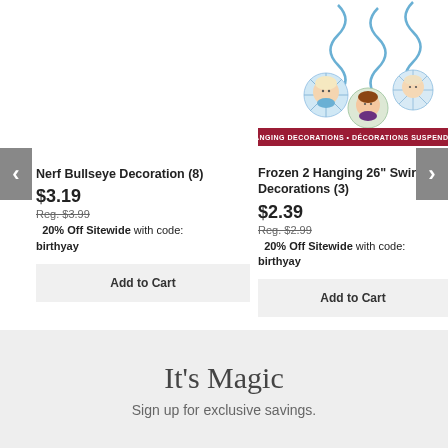[Figure (photo): Frozen 2 Hanging 26 inch Swirl Decorations product image showing three swirl hangers with Elsa, Anna, and snowflake characters, with red banner reading '3 HANGING DECORATIONS • DÉCORATIONS SUSPENDUES']
Nerf Bullseye Decoration (8)
$3.19
Reg. $3.99
20% Off Sitewide with code: birthyay
Add to Cart
Frozen 2 Hanging 26" Swirl Decorations (3)
$2.39
Reg. $2.99
20% Off Sitewide with code: birthyay
Add to Cart
It's Magic
Sign up for exclusive savings.